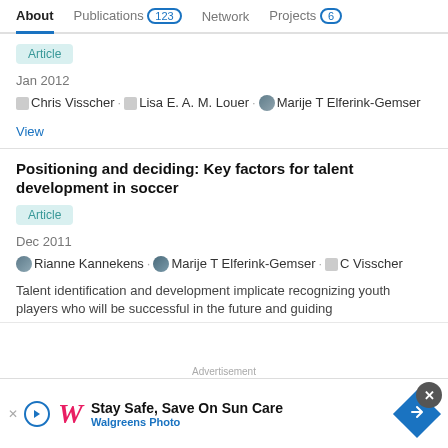About | Publications 123 | Network | Projects 6
Article
Jan 2012
Chris Visscher · Lisa E. A. M. Louer · Marije T Elferink-Gemser
View
Positioning and deciding: Key factors for talent development in soccer
Article
Dec 2011
Rianne Kannekens · Marije T Elferink-Gemser · C Visscher
Talent identification and development implicate recognizing youth players who will be successful in the future and guiding
[Figure (screenshot): Walgreens advertisement banner: Stay Safe, Save On Sun Care - Walgreens Photo]